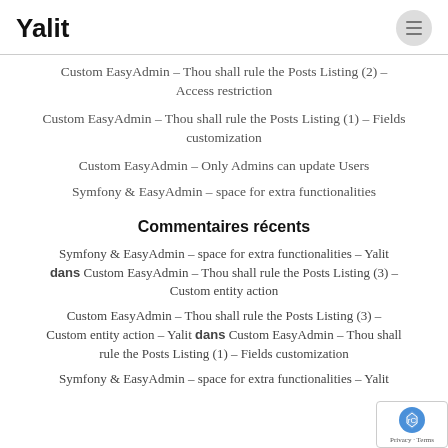Yalit
Custom EasyAdmin – Thou shall rule the Posts Listing (2) – Access restriction
Custom EasyAdmin – Thou shall rule the Posts Listing (1) – Fields customization
Custom EasyAdmin – Only Admins can update Users
Symfony & EasyAdmin – space for extra functionalities
Commentaires récents
Symfony & EasyAdmin – space for extra functionalities – Yalit dans Custom EasyAdmin – Thou shall rule the Posts Listing (3) – Custom entity action
Custom EasyAdmin – Thou shall rule the Posts Listing (3) – Custom entity action – Yalit dans Custom EasyAdmin – Thou shall rule the Posts Listing (1) – Fields customization
Symfony & EasyAdmin – space for extra functionalities – Yalit